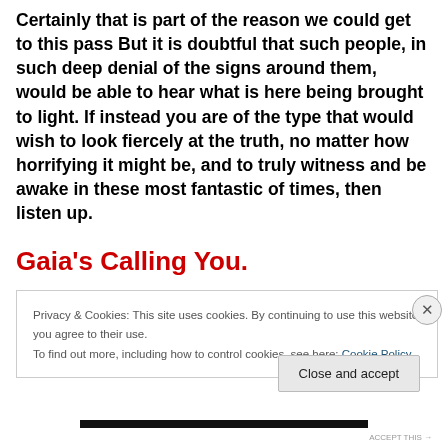Certainly that is part of the reason we could get to this pass But it is doubtful that such people, in such deep denial of the signs around them, would be able to hear what is here being brought to light. If instead you are of the type that would wish to look fiercely at the truth, no matter how horrifying it might be, and to truly witness and be awake in these most fantastic of times, then listen up.
Gaia's Calling You.
Privacy & Cookies: This site uses cookies. By continuing to use this website, you agree to their use.
To find out more, including how to control cookies, see here: Cookie Policy